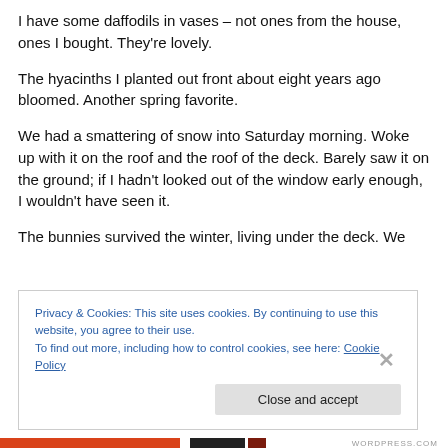I have some daffodils in vases – not ones from the house, ones I bought. They're lovely.
The hyacinths I planted out front about eight years ago bloomed. Another spring favorite.
We had a smattering of snow into Saturday morning. Woke up with it on the roof and the roof of the deck. Barely saw it on the ground; if I hadn't looked out of the window early enough, I wouldn't have seen it.
The bunnies survived the winter, living under the deck. We
Privacy & Cookies: This site uses cookies. By continuing to use this website, you agree to their use.
To find out more, including how to control cookies, see here: Cookie Policy
Close and accept